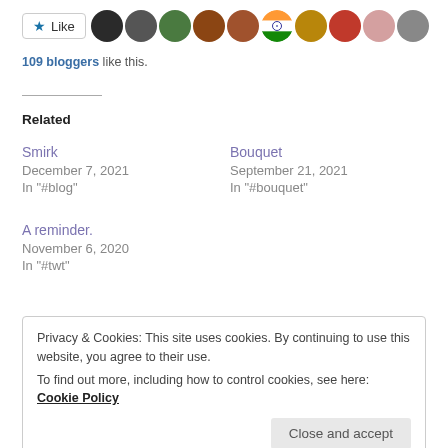[Figure (other): Like button with star icon followed by a row of 10 circular avatar/profile photos]
109 bloggers like this.
Related
Smirk
December 7, 2021
In "#blog"
Bouquet
September 21, 2021
In "#bouquet"
A reminder.
November 6, 2020
In "#twt"
Privacy & Cookies: This site uses cookies. By continuing to use this website, you agree to their use.
To find out more, including how to control cookies, see here: Cookie Policy
Close and accept